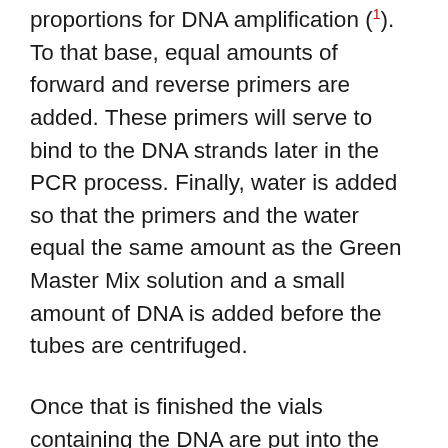proportions for DNA amplification (1). To that base, equal amounts of forward and reverse primers are added. These primers will serve to bind to the DNA strands later in the PCR process. Finally, water is added so that the primers and the water equal the same amount as the Green Master Mix solution and a small amount of DNA is added before the tubes are centrifuged.
Once that is finished the vials containing the DNA are put into the PCR machine and set to begin the cycles. PCR itself contains three major steps: 1)  denaturing, where the DNA solution is heated up to a very high temperature in order to essentially 'melt' the bonds between the double stranded DNA to make it single stranded, 2) annealing, where the DNA solution is heated to a much lower